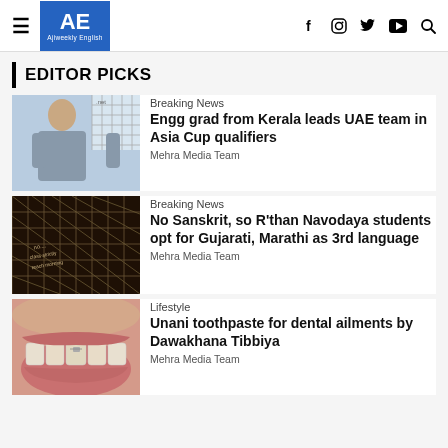AE Ajiweekly English
EDITOR PICKS
[Figure (photo): Man in sports jersey standing in front of a net with '.net' text visible]
Breaking News
Engg grad from Kerala leads UAE team in Asia Cup qualifiers
Mehra Media Team
[Figure (photo): Close-up of a net/mesh with handwritten text visible through it]
Breaking News
No Sanskrit, so R'than Navodaya students opt for Gujarati, Marathi as 3rd language
Mehra Media Team
[Figure (photo): Close-up of a person's teeth and gums showing dental condition]
Lifestyle
Unani toothpaste for dental ailments by Dawakhana Tibbiya
Mehra Media Team